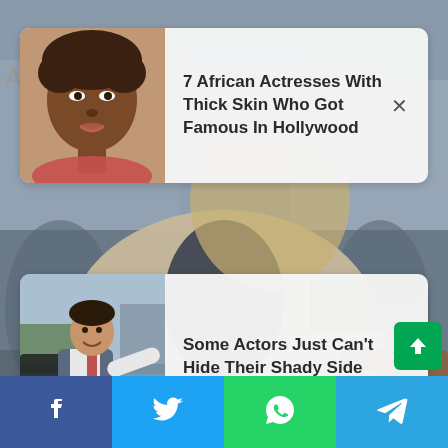[Figure (screenshot): Background photo of a man in a beige blazer at a public event with blurred crowd and city street behind him]
[Figure (screenshot): Ad card 1: Thumbnail of an African actress headshot, with headline '7 African Actresses With Thick Skin Who Got Famous In Hollywood' and a close X button]
7 African Actresses With Thick Skin Who Got Famous In Hollywood
[Figure (screenshot): Ad card 2: Thumbnail of a male actor gesturing outdoors, with headline 'Some Actors Just Can't Hide Their Shady Side' and a close X button]
Some Actors Just Can't Hide Their Shady Side
[Figure (screenshot): Bottom social share bar with Facebook, Twitter, WhatsApp, and Telegram buttons]